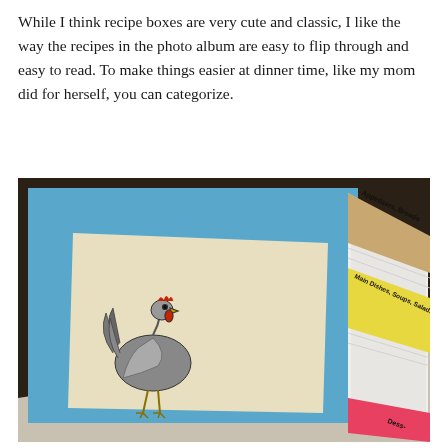While I think recipe boxes are very cute and classic, I like the way the recipes in the photo album are easy to flip through and easy to read. To make things easier at dinner time, like my mom did for herself, you can categorize.
[Figure (photo): A photo album or binder lying flat on a surface. The cover is blue with a vintage illustration of a rooster on a cream/beige background. Visible tabbed dividers sticking out from the right side of the binder show category labels: 'Appetizers, Breads', 'Main Dishes, Soups, Salads', and 'Dess-' (Desserts, partially visible at bottom). The tabs are different colors: tan/brown, yellow, and pink/red.]